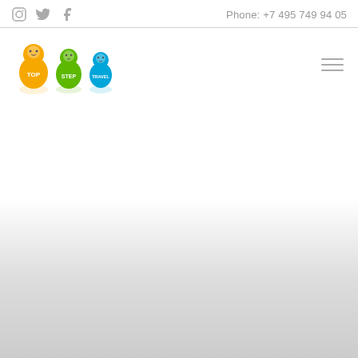Phone: +7 495 749 94 05
[Figure (logo): TopStep Travel logo with three matryoshka doll figures in orange, green, and blue colors with TOP STEP TRAVEL text]
[Figure (illustration): Large white/light gray gradient area filling the lower portion of the page]